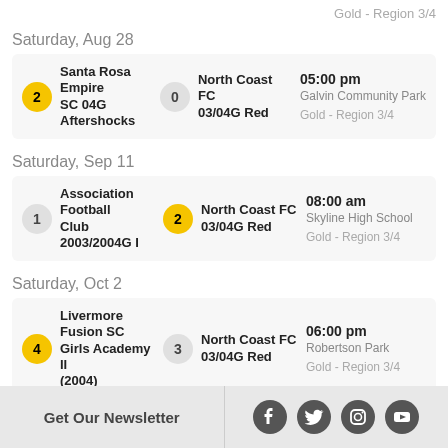Gold - Region 3/4
Saturday, Aug 28
| Score | Home Team | Score | Away Team | Time/Venue/Division |
| --- | --- | --- | --- | --- |
| 2 | Santa Rosa Empire SC 04G Aftershocks | 0 | North Coast FC 03/04G Red | 05:00 pm | Galvin Community Park | Gold - Region 3/4 |
Saturday, Sep 11
| Score | Home Team | Score | Away Team | Time/Venue/Division |
| --- | --- | --- | --- | --- |
| 1 | Association Football Club 2003/2004G I | 2 | North Coast FC 03/04G Red | 08:00 am | Skyline High School | Gold - Region 3/4 |
Saturday, Oct 2
| Score | Home Team | Score | Away Team | Time/Venue/Division |
| --- | --- | --- | --- | --- |
| 4 | Livermore Fusion SC Girls Academy II (2004) | 3 | North Coast FC 03/04G Red | 06:00 pm | Robertson Park | Gold - Region 3/4 |
Get Our Newsletter